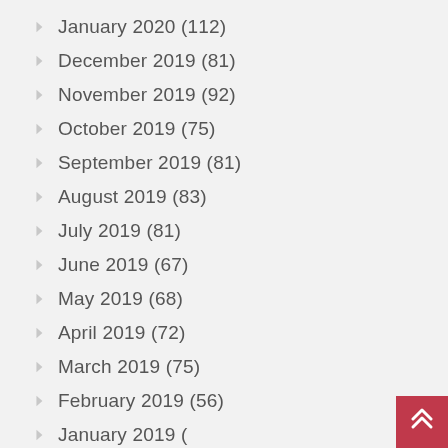January 2020 (112)
December 2019 (81)
November 2019 (92)
October 2019 (75)
September 2019 (81)
August 2019 (83)
July 2019 (81)
June 2019 (67)
May 2019 (68)
April 2019 (72)
March 2019 (75)
February 2019 (56)
January 2019 (88)